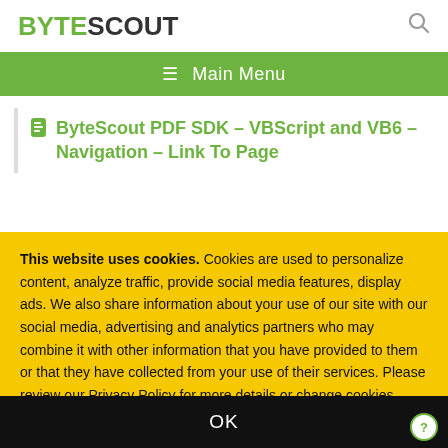BYTESCOUT
≡ Main Menu
ByteScout PDF SDK – VBScript and VB6 – Navigation – Link To Page
This website uses cookies. Cookies are used to personalize content, analyze traffic, provide social media features, display ads. We also share information about your use of our site with our social media, advertising and analytics partners who may combine it with other information that you have provided to them or that they have collected from your use of their services. Please review our Privacy Policy for more details or change cookies settings. By closing this banner or by clicking a link or continuing to browse otherwise, you consent to our cookies.
OK